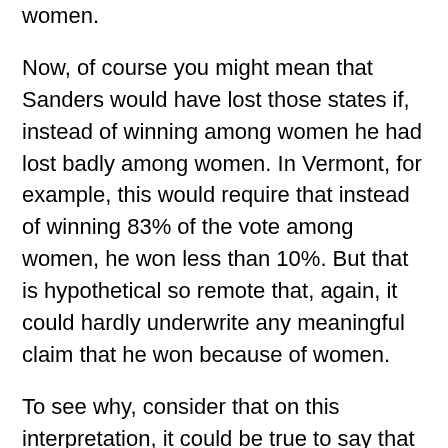women.
Now, of course you might mean that Sanders would have lost those states if, instead of winning among women he had lost badly among women. In Vermont, for example, this would require that instead of winning 83% of the vote among women, he won less than 10%. But that is hypothetical so remote that, again, it could hardly underwrite any meaningful claim that he won because of women.
To see why, consider that on this interpretation, it could be true to say that candidate X won because of demographic D even if they lost that demographic handily. Indeed, that would be the case in any scenario where the minority of D that X did